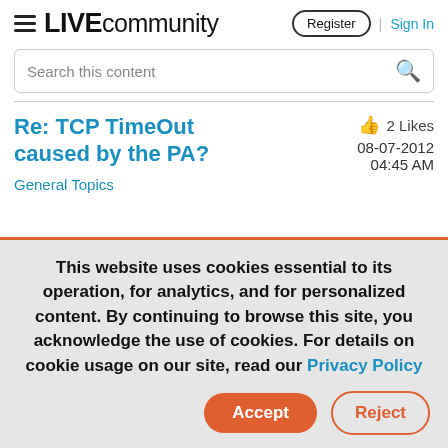LIVEcommunity  Register | Sign In
Search this content
Re: TCP TimeOut caused by the PA?
2 Likes  08-07-2012  04:45 AM
General Topics
This website uses cookies essential to its operation, for analytics, and for personalized content. By continuing to browse this site, you acknowledge the use of cookies. For details on cookie usage on our site, read our Privacy Policy
Accept  Reject